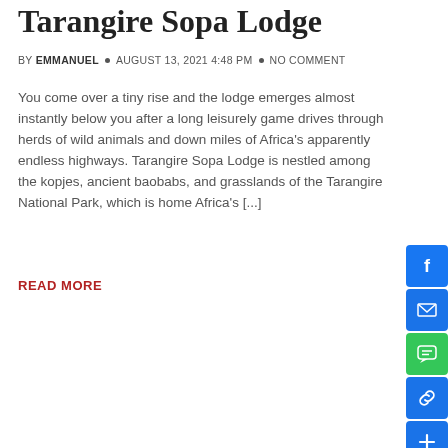Tarangire Sopa Lodge
BY EMMANUEL • AUGUST 13, 2021 4:48 PM • NO COMMENT
You come over a tiny rise and the lodge emerges almost instantly below you after a long leisurely game drives through herds of wild animals and down miles of Africa's apparently endless highways. Tarangire Sopa Lodge is nestled among the kopjes, ancient baobabs, and grasslands of the Tarangire National Park, which is home Africa's [...]
READ MORE